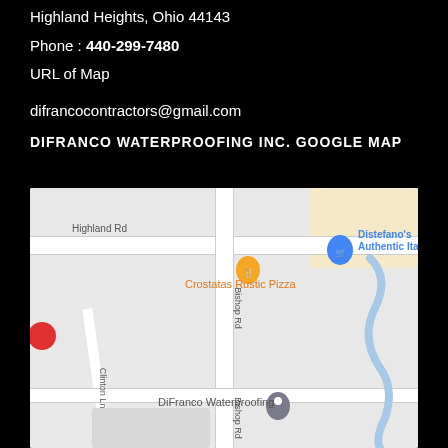Highland Heights, Ohio 44143
Phone : 440-299-7480
URL of Map
difrancocontractors@gmail.com
DIFRANCO WATERPROOFING INC. GOOGLE MAP
[Figure (map): Google Map showing DiFranco Waterproofing location near intersection of Bishop Rd and Clinton Ln in Highland Heights, Ohio. Nearby landmarks include Crostatas Rustic Pizza and Distefano's Authentic Italian.]